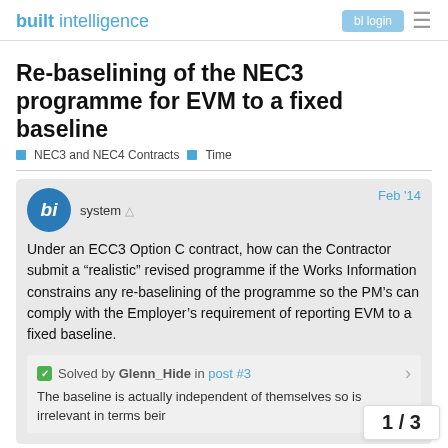built intelligence
Re-baselining of the NEC3 programme for EVM to a fixed baseline
NEC3 and NEC4 Contracts   Time
system  Feb '14
Under an ECC3 Option C contract, how can the Contractor submit a “realistic” revised programme if the Works Information constrains any re-baselining of the programme so the PM’s can comply with the Employer’s requirement of reporting EVM to a fixed baseline.
Solved by Glenn_Hide in post #3
The baseline is actually independent of themselves so is irrelevant in terms beir
1 / 3